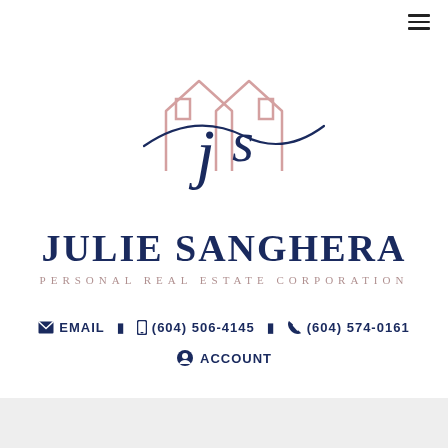[Figure (logo): Julie Sanghera Personal Real Estate Corporation logo — cursive 'js' script over a pink house outline, with a flowing dark navy swoosh]
JULIE SANGHERA
PERSONAL REAL ESTATE CORPORATION
EMAIL  (604) 506-4145  (604) 574-0161
ACCOUNT